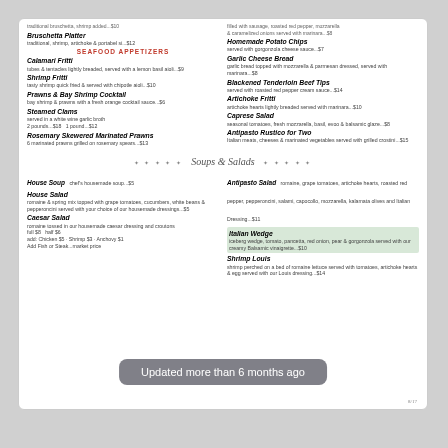SEAFOOD APPETIZERS
Bruschetta Platter - traditional, shrimp, artichoke & portabel si...$12
Calamari Fritti - tubes & tentacles lightly breaded, served with a lemon basil aioli...$9
Shrimp Fritti - tasty shrimp quick fried & served with chipotle aioli...$10
Prawns & Bay Shrimp Cocktail - bay shrimp & prawns with a fresh orange cocktail sauce...$6
Steamed Clams - served in a white wine garlic broth 2 pounds...$18   1 pound...$12
Rosemary Skewered Marinated Prawns - 6 marinated prawns grilled on rosemary spears...$13
Italian Egg Salad - filled with sausage, roasted red pepper, mozzarella & caramelized onions served with marinara...$8
Homemade Potato Chips - served with gorgonzola cheese sauce...$7
Garlic Cheese Bread - garlic bread topped with mozzarella & parmesan dressed, served with marinara...$8
Blackened Tenderloin Beef Tips - served with roasted red pepper cream sauce...$14
Artichoke Fritti - artichoke hearts lightly breaded served with marinara...$10
Caprese Salad - seasonal tomatoes, fresh mozzarella, basil, evoo & balsamic glaze...$8
Antipasto Rustico for Two - Italian meats, cheeses & marinated vegetables served with grilled crostini...$15
Soups & Salads
House Soup - chef's housemade soup...$5
House Salad - romaine & spring mix topped with grape tomatoes, cucumbers, white beans & pepperoncini served with your choice of our housemade dressings...$5
Caesar Salad - romaine tossed in our housemade caesar dressing and croutons. full $8  half $6. add: Chicken $5 · Shrimp $3 · Anchovy $1. Add Fish or Steak...market price
Antipasto Salad - romaine, grape tomatoes, artichoke hearts, roasted red pepper, pepperoncini, salami, capocollo, mozzarella, kalamata olives and Italian Dressing...$11
Italian Wedge - iceberg wedge, tomato, pancetta, red onion, pear & gorgonzola served with our creamy Balsamic vinaigrette...$10
Shrimp Louis - shrimp perched on a bed of romaine lettuce served with tomatoes, artichoke hearts & egg served with our Louis dressing...$14
Updated more than 6 months ago
8/17